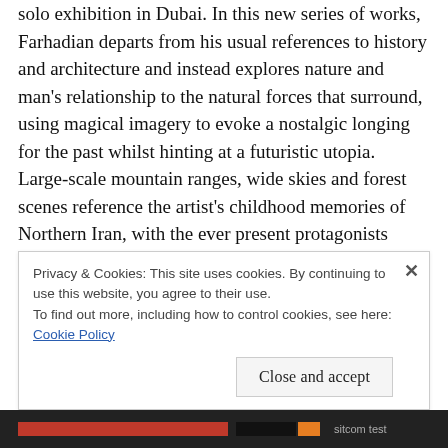solo exhibition in Dubai. In this new series of works, Farhadian departs from his usual references to history and architecture and instead explores nature and man's relationship to the natural forces that surround, using magical imagery to evoke a nostalgic longing for the past whilst hinting at a futuristic utopia. Large-scale mountain ranges, wide skies and forest scenes reference the artist's childhood memories of Northern Iran, with the ever present protagonists appearing small and insignificant against these vast landscapes.

Farhadian invites the viewer to contemplate a time b...
Privacy & Cookies: This site uses cookies. By continuing to use this website, you agree to their use.
To find out more, including how to control cookies, see here: Cookie Policy
Close and accept